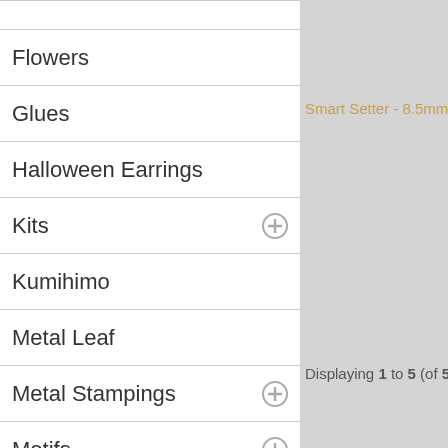Flowers
Glues
Halloween Earrings
Kits
Kumihimo
Metal Leaf
Metal Stampings
Motifs
Necklaces
Packaging / Displays
Rivets
Rondelles
Sequins
Smart Setter - 8.5mm
Displaying 1 to 5 (of 5